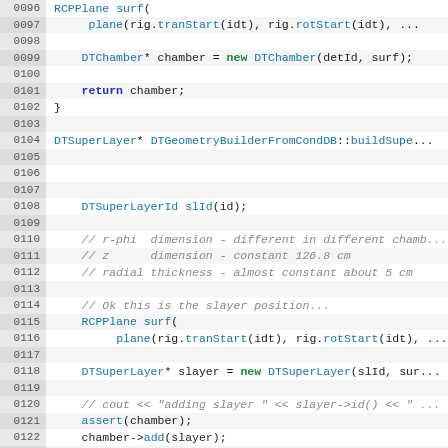Source code listing lines 0096-0125, C++ DTGeometryBuilderFromCondDB implementation
0096: RCPPlane surf(
0097:     plane(rig.tranStart(idt), rig.rotStart(idt), ...
0098: (blank)
0099:     DTChamber* chamber = new DTChamber(detId, surf);
0100: (blank)
0101:     return chamber;
0102: }
0103: (blank)
0104: DTSuperLayer* DTGeometryBuilderFromCondDB::buildSupe...
0105: (blank)
0106: (blank)
0107: (blank)
0108:     DTSuperLayerId slId(id);
0109: (blank)
0110:     // r-phi  dimension - different in different chamb...
0111:     // z      dimension - constant 126.8 cm
0112:     // radial thickness - almost constant about 5 cm
0113: (blank)
0114:     // Ok this is the slayer position...
0115:     RCPPlane surf(
0116:         plane(rig.tranStart(idt), rig.rotStart(idt), ...
0117: (blank)
0118:     DTSuperLayer* slayer = new DTSuperLayer(slId, sur...
0119: (blank)
0120:     // cout << "adding slayer " << slayer->id() << " ...
0121:     assert(chamber);
0122:     chamber->add(slayer);
0123:     return slayer;
0124: }
0125: (blank)
0126: DTLayer* DTGeometryBuilderFromCondDB::build... (partial)